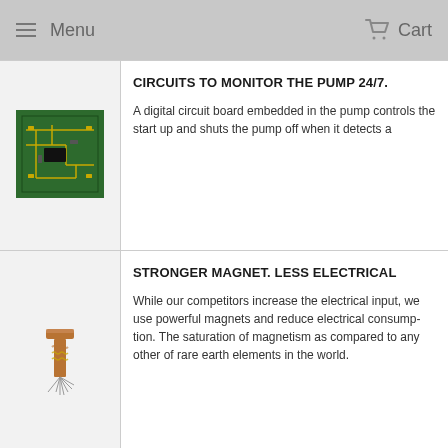Menu   Cart
CIRCUITS TO MONITOR THE PUMP 24/7.
A digital circuit board embedded in the pump controls the start up and shuts the pump off when it detects a
[Figure (photo): Green PCB circuit board photo]
STRONGER MAGNET. LESS ELECTRICAL
While our competitors increase the electrical input, we use powerful magnets and reduce electrical consumption. The saturation of magnetism as compared to any other of rare earth elements in the world.
[Figure (photo): Magnet with wire coils photo]